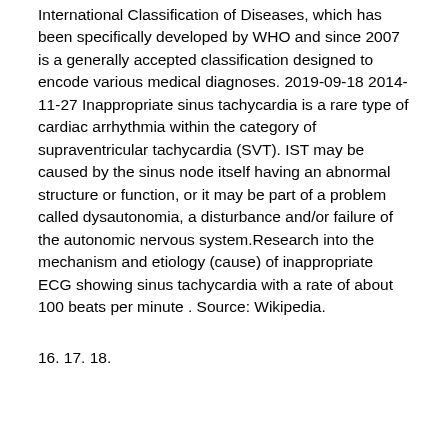International Classification of Diseases, which has been specifically developed by WHO and since 2007 is a generally accepted classification designed to encode various medical diagnoses. 2019-09-18 2014-11-27 Inappropriate sinus tachycardia is a rare type of cardiac arrhythmia within the category of supraventricular tachycardia (SVT). IST may be caused by the sinus node itself having an abnormal structure or function, or it may be part of a problem called dysautonomia, a disturbance and/or failure of the autonomic nervous system.Research into the mechanism and etiology (cause) of inappropriate ECG showing sinus tachycardia with a rate of about 100 beats per minute . Source: Wikipedia.
16. 17. 18.